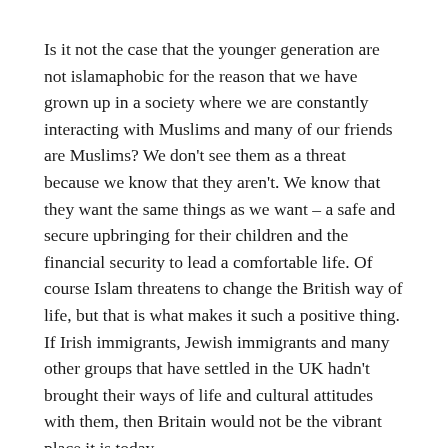Is it not the case that the younger generation are not islamaphobic for the reason that we have grown up in a society where we are constantly interacting with Muslims and many of our friends are Muslims? We don't see them as a threat because we know that they aren't. We know that they want the same things as we want – a safe and secure upbringing for their children and the financial security to lead a comfortable life. Of course Islam threatens to change the British way of life, but that is what makes it such a positive thing. If Irish immigrants, Jewish immigrants and many other groups that have settled in the UK hadn't brought their ways of life and cultural attitudes with them, then Britain would not be the vibrant place it is today.
Older generations on the other hand have had much less contact with Muslims in their daily lives. They grew up under the threat of Communism, grew up on the...